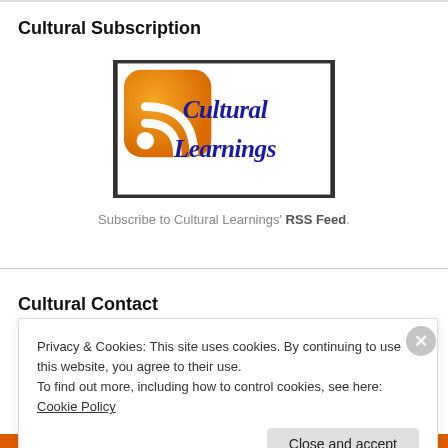Cultural Subscription
[Figure (logo): Cultural Learnings logo with RSS feed orange icon on left and 'Cultural Learnings' in blue cursive text on right, inside a black border rectangle]
Subscribe to Cultural Learnings' RSS Feed.
Cultural Contact
Privacy & Cookies: This site uses cookies. By continuing to use this website, you agree to their use.
To find out more, including how to control cookies, see here: Cookie Policy